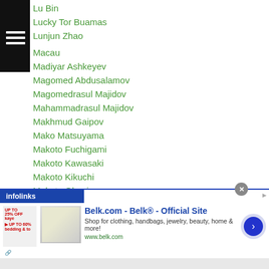Lu Bin
Lucky Tor Buamas
Lunjun Zhao
Macau
Madiyar Ashkeyev
Magomed Abdusalamov
Magomedrasul Majidov
Mahammadrasul Majidov
Makhmud Gaipov
Mako Matsuyama
Makoto Fuchigami
Makoto Kawasaki
Makoto Kikuchi
Makoto Okaniwa
Mako Yamada
Malcolm Tunacao
[Figure (screenshot): Infolinks ad banner for Belk.com showing clothing/handbags store advertisement]